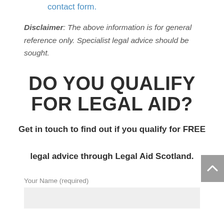contact form.
Disclaimer: The above information is for general reference only. Specialist legal advice should be sought.
DO YOU QUALIFY FOR LEGAL AID?
Get in touch to find out if you qualify for FREE legal advice through Legal Aid Scotland.
Your Name (required)